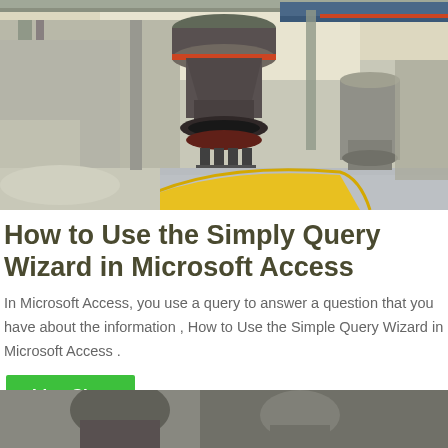[Figure (photo): Industrial facility interior showing large grey cylindrical grinding/milling machines on a polished concrete floor, with structural beams and bright lighting overhead. A yellow curved safety barrier is visible in the foreground.]
How to Use the Simply Query Wizard in Microsoft Access
In Microsoft Access, you use a query to answer a question that you have about the information , How to Use the Simple Query Wizard in Microsoft Access .
Live Chat
[Figure (photo): Partial view of another industrial machinery photo at the bottom of the page, cropped.]